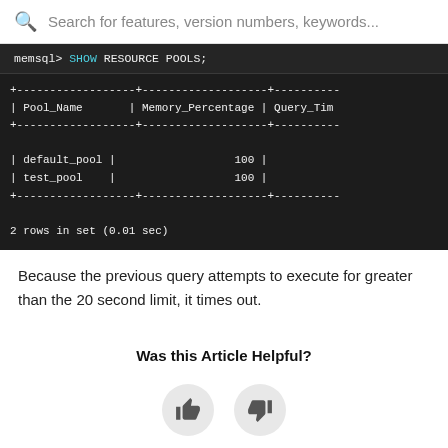Search for features, version numbers, keywords...
[Figure (screenshot): Terminal screenshot showing memsql> SHOW RESOURCE POOLS; command output with a table listing Pool_Name, Memory_Percentage, Query_Tim... columns. Rows: default_pool 100, test_pool 100. Footer: 2 rows in set (0.01 sec)]
Because the previous query attempts to execute for greater than the 20 second limit, it times out.
Was this Article Helpful?